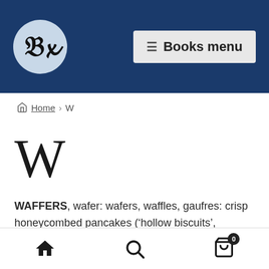PB logo | Books menu
Home > W
W
WAFFERS, wafer: wafers, waffles, gaufres: crisp honeycombed pancakes ('hollow biscuits', Receipt 210) made in a wafer iron. See the index for mentions of this implement
Home | Search | Cart (0)